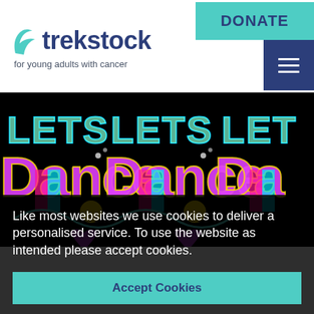[Figure (logo): Trekstock logo with teal checkmark icon, dark navy 'trekstock' text, and tagline 'for young adults with cancer']
[Figure (other): Teal DONATE button in top right header]
[Figure (other): Dark navy hamburger menu button]
[Figure (photo): Repeating colorful 'LETS Dance' event poster with neon colors on black background]
Like most websites we use cookies to deliver a personalised service. To use the website as intended please accept cookies.
Accept Cookies